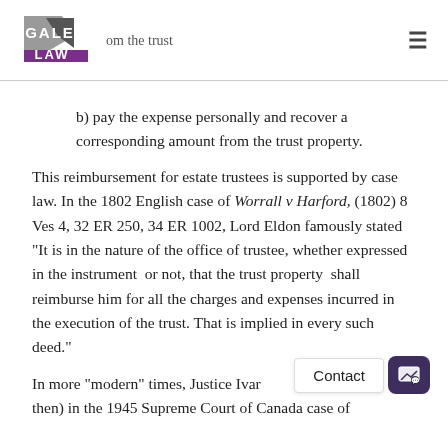Gale Law — om the trust
b) pay the expense personally and recover a corresponding amount from the trust property.
This reimbursement for estate trustees is supported by case law. In the 1802 English case of Worrall v Harford, (1802) 8 Ves 4, 32 ER 250, 34 ER 1002, Lord Eldon famously stated "It is in the nature of the office of trustee, whether expressed in the instrument or not, that the trust property shall reimburse him for all the charges and expenses incurred in the execution of the trust. That is implied in every such deed."
In more “modern” times, Justice Ivar [Rand] (as he was then) in the 1945 Supreme Court of Canada case of